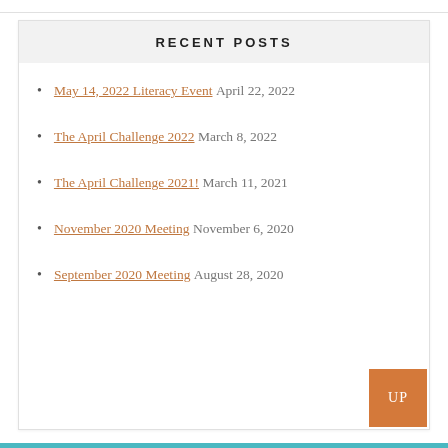RECENT POSTS
May 14, 2022 Literacy Event April 22, 2022
The April Challenge 2022 March 8, 2022
The April Challenge 2021! March 11, 2021
November 2020 Meeting November 6, 2020
September 2020 Meeting August 28, 2020